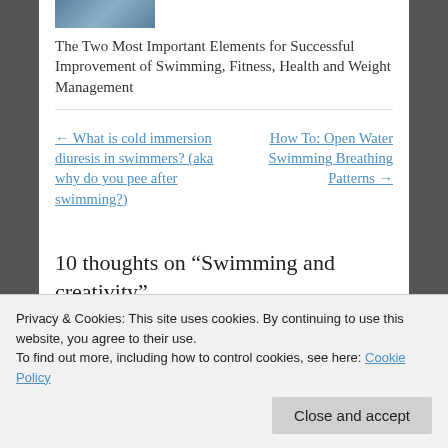[Figure (photo): Small thumbnail photo of open water swimming scene]
The Two Most Important Elements for Successful Improvement of Swimming, Fitness, Health and Weight Management
← What is cold immersion diuresis in swimmers? (aka why do you pee after swimming?)
How To: Open Water Swimming Breathing Patterns →
10 thoughts on “Swimming and creativity”
Privacy & Cookies: This site uses cookies. By continuing to use this website, you agree to their use.
To find out more, including how to control cookies, see here: Cookie Policy
Close and accept